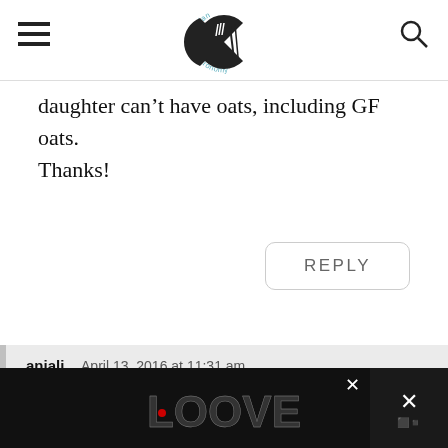vegetarian gastronomy (logo with hamburger menu and search icon)
daughter can't have oats, including GF oats.
Thanks!
REPLY
anjali   April 13, 2016 at 11:31 am
For this particular recipe, I really wanted to focus on something
[Figure (illustration): Advertisement banner with LOOVE text art at bottom of page]